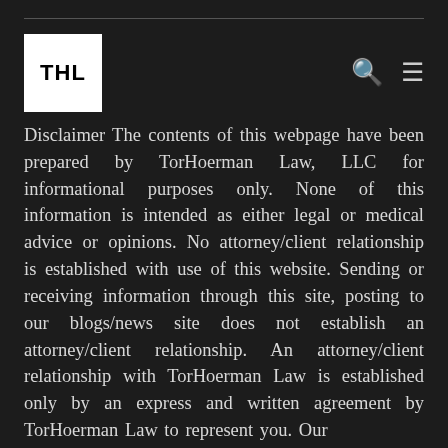[Figure (logo): THL logo — white square with bold black text 'THL']
Disclaimer The contents of this webpage have been prepared by TorHoerman Law, LLC for informational purposes only. None of this information is intended as either legal or medical advice or opinions. No attorney/client relationship is established with use of this website. Sending or receiving information through this site, posting to our blogs/news site does not establish an attorney/client relationship. An attorney/client relationship with TorHoerman Law is established only by an express and written agreement by TorHoerman Law to represent you. Our